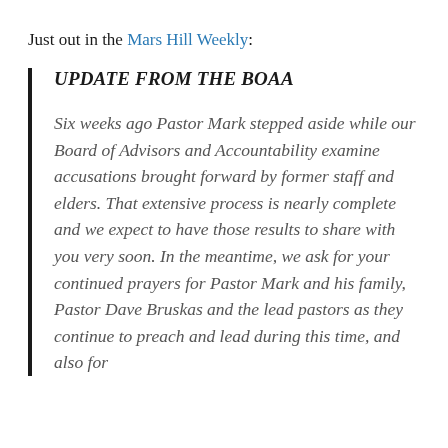Just out in the Mars Hill Weekly:
UPDATE FROM THE BOAA
Six weeks ago Pastor Mark stepped aside while our Board of Advisors and Accountability examine accusations brought forward by former staff and elders. That extensive process is nearly complete and we expect to have those results to share with you very soon. In the meantime, we ask for your continued prayers for Pastor Mark and his family, Pastor Dave Bruskas and the lead pastors as they continue to preach and lead during this time, and also for